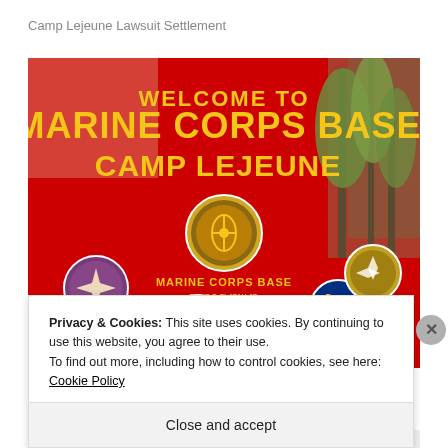Camp Lejeune Lawsuit Settlement
[Figure (photo): Red welcome sign for Marine Corps Base Camp Lejeune, with text 'WELCOME TO MARINE CORPS BASE CAMP LEJEUNE' in yellow letters, featuring multiple military unit emblems/seals including Marine Corps Base, Joint Maritime Training Center, MARSOC, Naval Hospital, and Training Command, with trees visible in background.]
Privacy & Cookies: This site uses cookies. By continuing to use this website, you agree to their use.
To find out more, including how to control cookies, see here: Cookie Policy
Close and accept